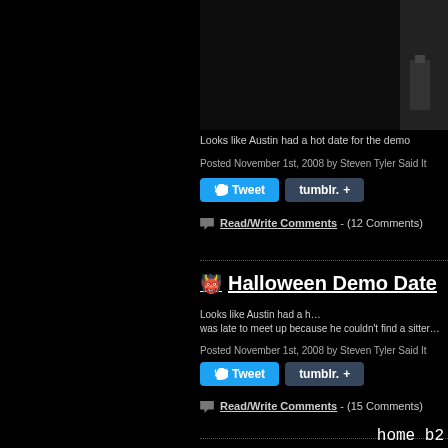[Figure (photo): Dark photo partially visible at top right of page]
Looks like Austin had a hot date for the demo
Posted November 1st, 2008 by Steven Tyler Said It
Tweet  tumblr. +
Read/Write Comments - (12 Comments)
Halloween Demo Date
Image Description Here Looks like Austin had a hot date... was late to meet up because he couldn't find a sitter. Posted November 1st, 2008 by Steven Tyler Said It
Tweet  tumblr. +
Read/Write Comments - (15 Comments)
home b2